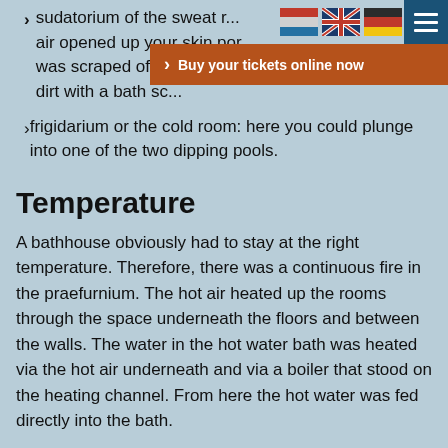sudatorium of the sweat room: hot air opened up your skin pores, dirt was scraped off the skin and dirt with a bath sc...
frigidarium or the cold room: here you could plunge into one of the two dipping pools.
Temperature
A bathhouse obviously had to stay at the right temperature. Therefore, there was a continuous fire in the praefurnium. The hot air heated up the rooms through the space underneath the floors and between the walls. The water in the hot water bath was heated via the hot air underneath and via a boiler that stood on the heating channel. From here the hot water was fed directly into the bath.
Meeting place